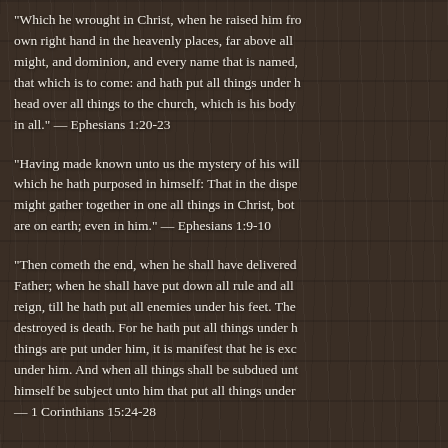“Which he wrought in Christ, when he raised him fro… own right hand in the heavenly places, far above all might, and dominion, and every name that is named, that which is to come: and hath put all things under h… head over all things to the church, which is his body in all.” — Ephesians 1:20-23
“Having made known unto us the mystery of his will… which he hath purposed in himself: That in the dispe… might gather together in one all things in Christ, bot… are on earth; even in him.” — Ephesians 1:9-10
“Then cometh the end, when he shall have delivered… Father; when he shall have put down all rule and all reign, till he hath put all enemies under his feet. The… destroyed is death. For he hath put all things under h… things are put under him, it is manifest that he is exc… under him. And when all things shall be subdued unt… himself be subject unto him that put all things under — 1 Corinthians 15:24-28